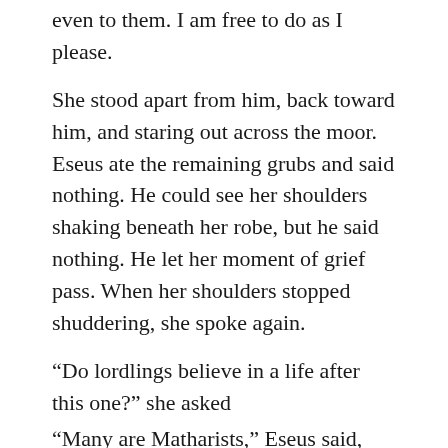even to them. I am free to do as I please.
She stood apart from him, back toward him, and staring out across the moor. Eseus ate the remaining grubs and said nothing. He could see her shoulders shaking beneath her robe, but he said nothing. He let her moment of grief pass. When her shoulders stopped shuddering, she spoke again.
“Do lordlings believe in a life after this one?” she asked
“Many are Matharists,” Eseus said, “But my father believed it a lot of dragon feathers.”
“And what do you think, Eseus?”
Hearing her say his name for the first time gave him pause. He cleared his throat.
“Part of me wishes it so,” he said, “so I might see my loved ones again. But because I wish it so I doubt it. When has this world ever answered wishes?” He